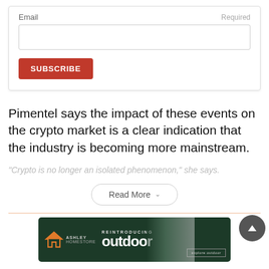Email
Required
[Figure (screenshot): Email input field and Subscribe button form section]
Pimentel says the impact of these events on the crypto market is a clear indication that the industry is becoming more mainstream.
"Crypto is no longer an isolated phenomenon," she says.
Read More
[Figure (illustration): Ashley HomeStore advertisement banner - REINTRODUCING outdoor, explore outdoor]